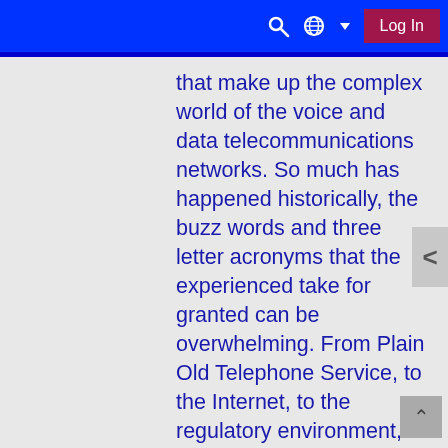Log In
that make up the complex world of the voice and data telecommunications networks. So much has happened historically, the buzz words and three letter acronyms that the experienced take for granted can be overwhelming. From Plain Old Telephone Service, to the Internet, to the regulatory environment, this course provides a complete survey and reference for the terms, the network equipment functions, and the